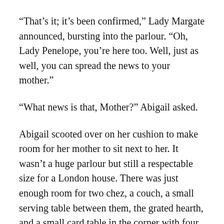“That’s it; it’s been confirmed,” Lady Margate announced, bursting into the parlour. “Oh, Lady Penelope, you’re here too. Well, just as well, you can spread the news to your mother.”
“What news is that, Mother?” Abigail asked.
Abigail scooted over on her cushion to make room for her mother to sit next to her. It wasn’t a huge parlour but still a respectable size for a London house. There was just enough room for two chez, a couch, a small serving table between them, the grated hearth, and a small card table in the corner with four wooden seats.